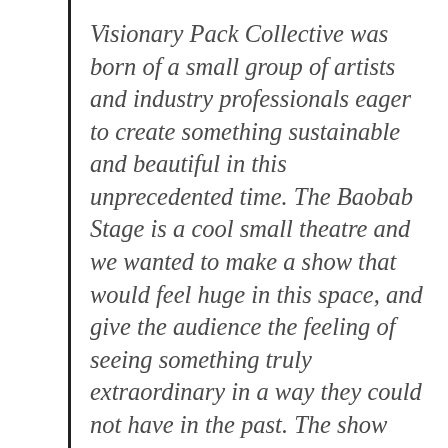Visionary Pack Collective was born of a small group of artists and industry professionals eager to create something sustainable and beautiful in this unprecedented time. The Baobab Stage is a cool small theatre and we wanted to make a show that would feel huge in this space, and give the audience the feeling of seeing something truly extraordinary in a way they could not have in the past. The show combines extraordinary talent and all the trappings of a production usually seen on grand stages and in arenas playing to thousands